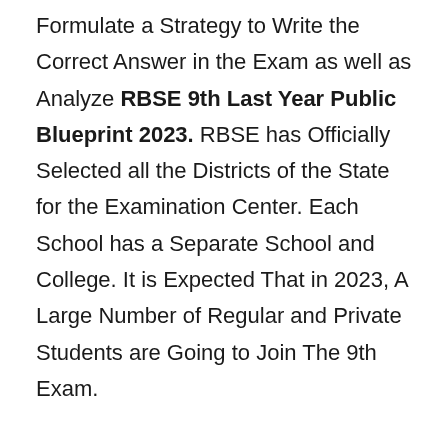Formulate a Strategy to Write the Correct Answer in the Exam as well as Analyze RBSE 9th Last Year Public Blueprint 2023. RBSE has Officially Selected all the Districts of the State for the Examination Center. Each School has a Separate School and College. It is Expected That in 2023, A Large Number of Regular and Private Students are Going to Join The 9th Exam.